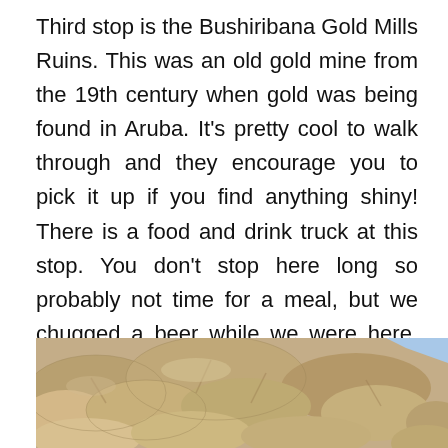Third stop is the Bushiribana Gold Mills Ruins. This was an old gold mine from the 19th century when gold was being found in Aruba. It's pretty cool to walk through and they encourage you to pick it up if you find anything shiny! There is a food and drink truck at this stop. You don't stop here long so probably not time for a meal, but we chugged a beer while we were here. There are also bathrooms (the first and only stop with any!) you have to pay $1 to use them so make sure you have singles.
[Figure (photo): Close-up photograph of stacked sandy-colored rocks or stone ruins, with a sliver of blue sky visible in the upper right corner.]